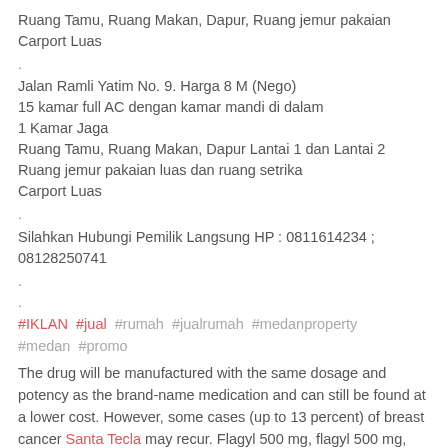Ruang Tamu, Ruang Makan, Dapur, Ruang jemur pakaian
Carport Luas
.
Jalan Ramli Yatim No. 9. Harga 8 M (Nego)
15 kamar full AC dengan kamar mandi di dalam
1 Kamar Jaga
Ruang Tamu, Ruang Makan, Dapur Lantai 1 dan Lantai 2
Ruang jemur pakaian luas dan ruang setrika
Carport Luas
.
Silahkan Hubungi Pemilik Langsung HP : 0811614234 ; 08128250741
.
.
#IKLAN #jual #rumah #jualrumah #medanproperty #medan #promo
The drug will be manufactured with the same dosage and potency as the brand-name medication and can still be found at a lower cost. However, some cases (up to 13 percent) of breast cancer Santa Tecla may recur. Flagyl 500 mg, flagyl 500 mg, flagyl online, flagyl 500 mg.